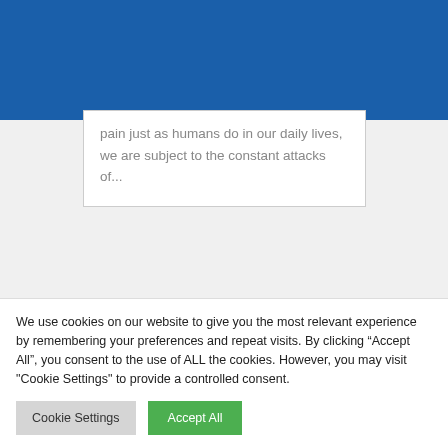pain just as humans do in our daily lives, we are subject to the constant attacks of...
Do Your Back Of Neck Come With Pain At Base Of Skull
Pain Relief for Humans
Back Of Neck Pain Base Of Skull
We use cookies on our website to give you the most relevant experience by remembering your preferences and repeat visits. By clicking “Accept All”, you consent to the use of ALL the cookies. However, you may visit "Cookie Settings" to provide a controlled consent.